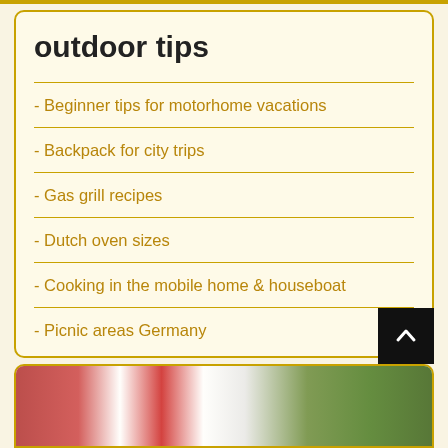outdoor tips
- Beginner tips for motorhome vacations
- Backpack for city trips
- Gas grill recipes
- Dutch oven sizes
- Cooking in the mobile home & houseboat
- Picnic areas Germany
[Figure (photo): Photo of outdoor/picnic scene with checkered cloth and vegetables]